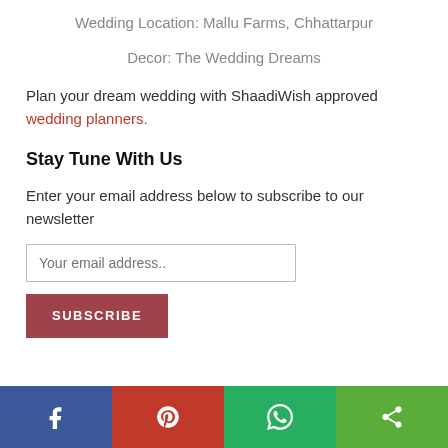Wedding Location: Mallu Farms, Chhattarpur
Decor: The Wedding Dreams
Plan your dream wedding with ShaadiWish approved wedding planners.
Stay Tune With Us
Enter your email address below to subscribe to our newsletter
Your email address..
SUBSCRIBE